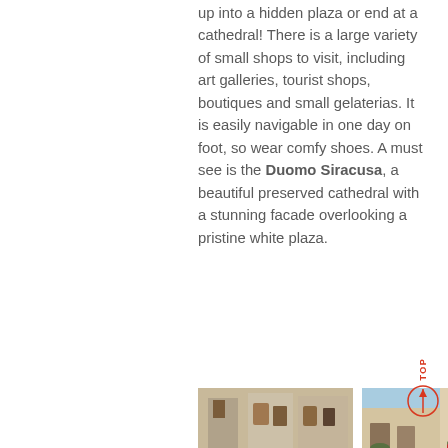up into a hidden plaza or end at a cathedral! There is a large variety of small shops to visit, including art galleries, tourist shops, boutiques and small gelaterias. It is easily navigable in one day on foot, so wear comfy shoes. A must see is the Duomo Siracusa, a beautiful preserved cathedral with a stunning facade overlooking a pristine white plaza.
[Figure (photo): Street view of historic Italian buildings with people gathered on a bridge or terrace, flowering bushes visible below, stone architecture.]
[Figure (photo): Close-up view of Italian building facades with balconies decorated with red flower boxes, warm stone colors.]
[Figure (photo): Partial view of historic Italian buildings under blue sky.]